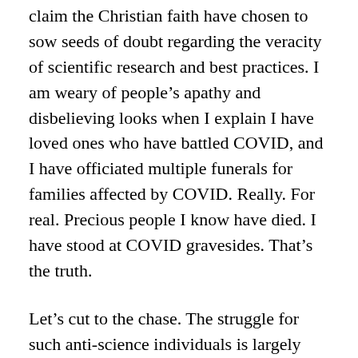claim the Christian faith have chosen to sow seeds of doubt regarding the veracity of scientific research and best practices. I am weary of people’s apathy and disbelieving looks when I explain I have loved ones who have battled COVID, and I have officiated multiple funerals for families affected by COVID. Really. For real. Precious people I know have died. I have stood at COVID gravesides. That’s the truth.
Let’s cut to the chase. The struggle for such anti-science individuals is largely born of personal inconvenience and self-absorbed expression of freedom, not genuinely solid ideology. “Masks just feel too restrictive. And if I want to gather with my big group of friends for that party, well dang-it, that’s my right!” Personal rights and American freedoms should supposedly trump love of